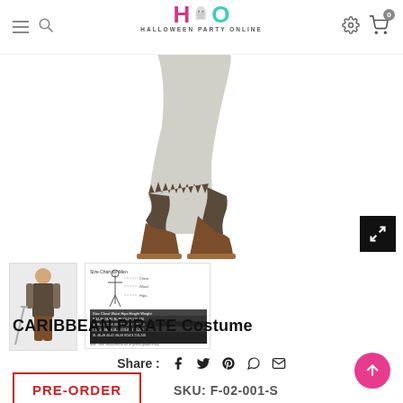HALLOWEEN PARTY ONLINE – site header with hamburger menu, search, logo, settings, and cart icons
[Figure (photo): Partial view of a Caribbean Pirate costume showing lower body with brown boots and tattered dark clothing, overlaid with Halloween Party Online logo]
[Figure (photo): Thumbnail 1: Full costume photo of child in Caribbean Pirate costume holding a sword]
[Figure (photo): Thumbnail 2: Size chart for Men showing body measurement diagram and size table]
Share : (Facebook, Twitter, Pinterest, WhatsApp, Email icons)
CARIBBEAN PIRATE Costume
PRE-ORDER
SKU: F-02-001-S